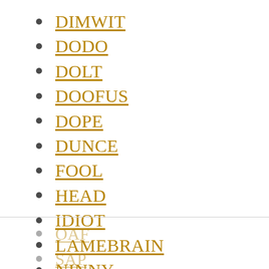DIMWIT
DODO
DOLT
DOOFUS
DOPE
DUNCE
FOOL
HEAD
IDIOT
LAMEBRAIN
NINNY
OAF
SAP